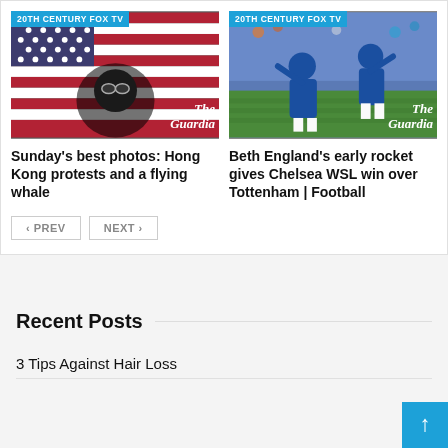[Figure (photo): News card: Hong Kong protests photo with American flags and masked protester. Badge: 20TH CENTURY FOX TV. Watermark: The Guardia(n)]
Sunday's best photos: Hong Kong protests and a flying whale
[Figure (photo): News card: Soccer/football photo with Chelsea players in blue celebrating. Badge: 20TH CENTURY FOX TV. Watermark: The Guardia(n)]
Beth England's early rocket gives Chelsea WSL win over Tottenham | Football
Recent Posts
3 Tips Against Hair Loss